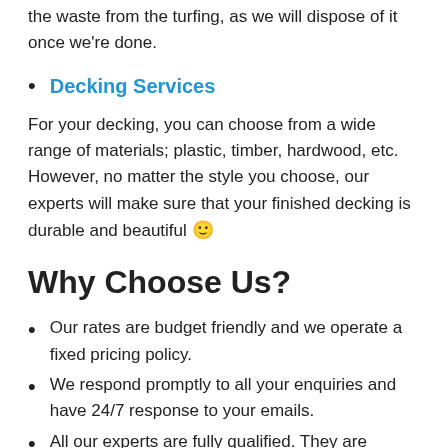affordable. You won't also have to worry about the waste from the turfing, as we will dispose of it once we're done.
Decking Services
For your decking, you can choose from a wide range of materials; plastic, timber, hardwood, etc. However, no matter the style you choose, our experts will make sure that your finished decking is durable and beautiful 🙂
Why Choose Us?
Our rates are budget friendly and we operate a fixed pricing policy.
We respond promptly to all your enquiries and have 24/7 response to your emails.
All our experts are fully qualified. They are